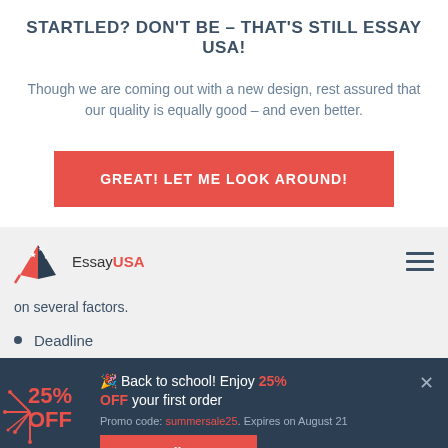STARTLED? DON'T BE – THAT'S STILL ESSAY USA!
Though we are coming out with a new design, rest assured that our quality is equally good – and even better.
GREAT! LET ME LOOK AROUND!
[Figure (logo): EssayUSA logo with eagle/flag icon]
on several factors.
Deadline
Academic level
Word count
Back to school! Enjoy 25% OFF your first order. Promo code: summersale25. Expires on August 21
Get a discount